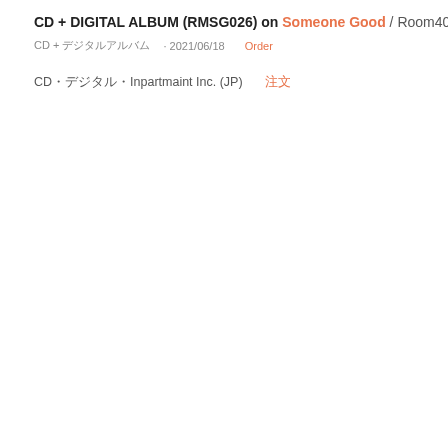CD + DIGITAL ALBUM (RMSG026) on Someone Good / Room40 (AU)
CD + デジタルアルバム · 2021/06/18   Order
CDデジタルInpartmaint Inc. (JP)   注文